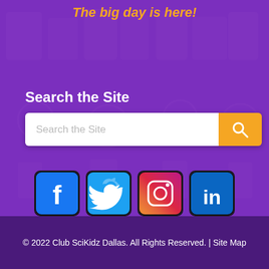The big day is here!
Search the Site
[Figure (screenshot): Search bar with text input field and orange search button with magnifying glass icon]
[Figure (infographic): Row of four social media icons: Facebook (blue), Twitter (light blue), Instagram (gradient pink/orange), LinkedIn (blue)]
© 2022 Club SciKidz Dallas. All Rights Reserved. | Site Map